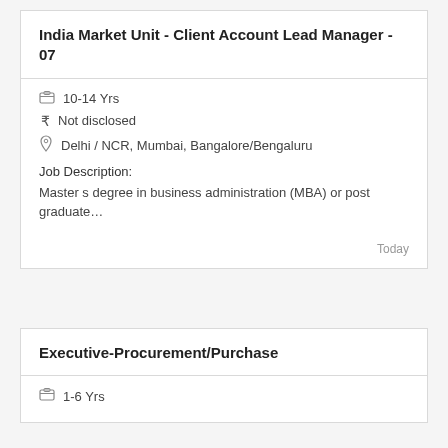India Market Unit - Client Account Lead Manager - 07
10-14 Yrs
Not disclosed
Delhi / NCR, Mumbai, Bangalore/Bengaluru
Job Description:
Master s degree in business administration (MBA) or post graduate…
Today
Executive-Procurement/Purchase
1-6 Yrs